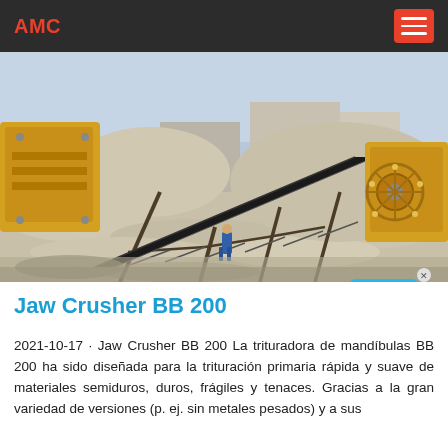AMC
[Figure (photo): Outdoor mining/quarry site with yellow jaw crusher machines, a long black conveyor belt on a steel frame angled diagonally, crushed rock/gravel piles, and a worker in blue visible in the foreground. A Live Chat bubble overlay appears in the lower-right of the image.]
Jaw Crusher BB 200
2021-10-17 · Jaw Crusher BB 200 La trituradora de mandíbulas BB 200 ha sido diseñada para la trituración primaria rápida y suave de materiales semiduros, duros, frágiles y tenaces. Gracias a la gran variedad de versiones (p. ej. sin metales pesados) y a sus características de ajuste de la granulometría id…